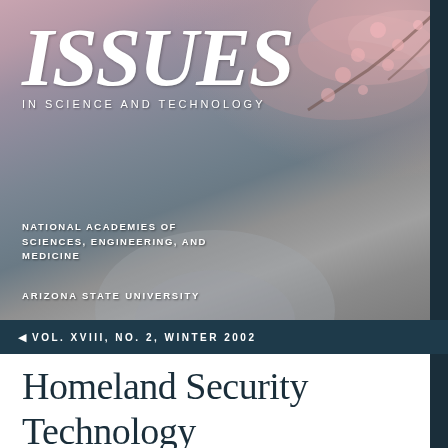[Figure (photo): Magazine cover background photo showing cherry blossoms in the upper right and a blurred classical dome building (likely Jefferson Memorial) in the center-lower area, with a muted grey-blue sky]
ISSUES
IN SCIENCE AND TECHNOLOGY
NATIONAL ACADEMIES OF SCIENCES, ENGINEERING, AND MEDICINE
ARIZONA STATE UNIVERSITY
VOL. XVIII, NO. 2, WINTER 2002
Homeland Security Technology